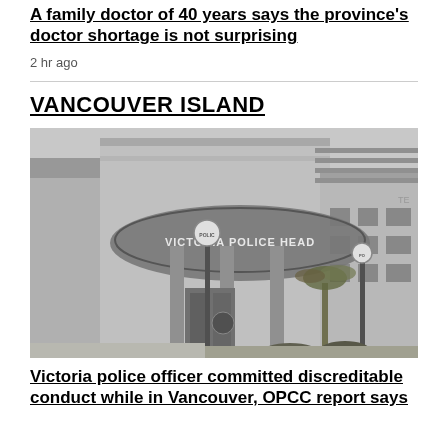A family doctor of 40 years says the province's doctor shortage is not surprising
2 hr ago
VANCOUVER ISLAND
[Figure (photo): Black and white photo of Victoria Police Headquarters building entrance with a large circular sign reading 'VICTORIA POLICE HEAD' and a police lamp post in front]
Victoria police officer committed discreditable conduct while in Vancouver, OPCC report says